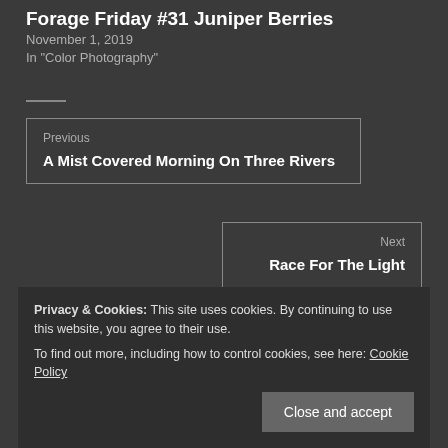Forage Friday #31 Juniper Berries
November 1, 2019
In "Color Photography"
Previous
A Mist Covered Morning On Three Rivers
Next
Race For The Light
Privacy & Cookies: This site uses cookies. By continuing to use this website, you agree to their use.
To find out more, including how to control cookies, see here: Cookie Policy
Close and accept